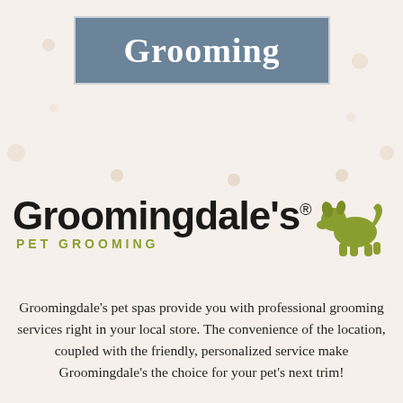Grooming
[Figure (logo): Groomingdale's Pet Grooming logo with stylized dog icon in olive green]
Groomingdale's pet spas provide you with professional grooming services right in your local store. The convenience of the location, coupled with the friendly, personalized service make Groomingdale's the choice for your pet's next trim!